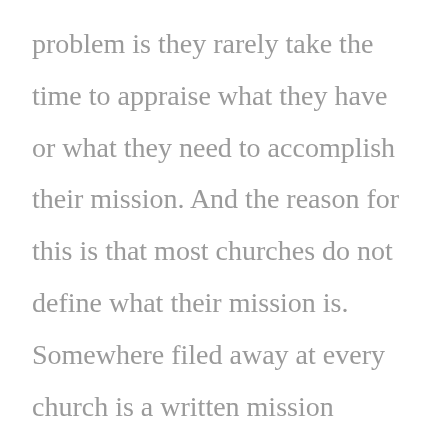problem is they rarely take the time to appraise what they have or what they need to accomplish their mission. And the reason for this is that most churches do not define what their mission is. Somewhere filed away at every church is a written mission statement defining the goals of the church. When you asked the average member, or even one of the lay leader (or clergy!) what that mission statement says